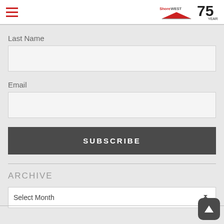Shorewest 75 Years
Last Name
Email
SUBSCRIBE
ARCHIVE
Select Month